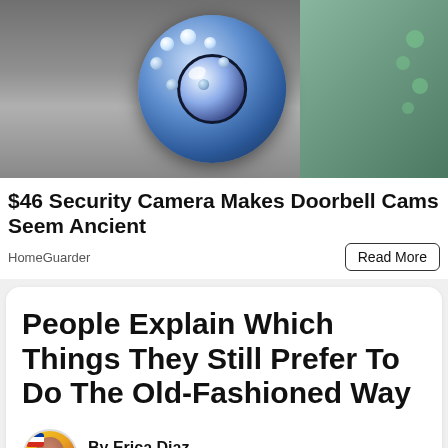[Figure (photo): Security camera with blue lens and LED lights close-up photo]
$46 Security Camera Makes Doorbell Cams Seem Ancient
HomeGuarder
Read More
People Explain Which Things They Still Prefer To Do The Old-Fashioned Way
By Erica Diaz
August 16 | 2022
sical buttons for climate contro